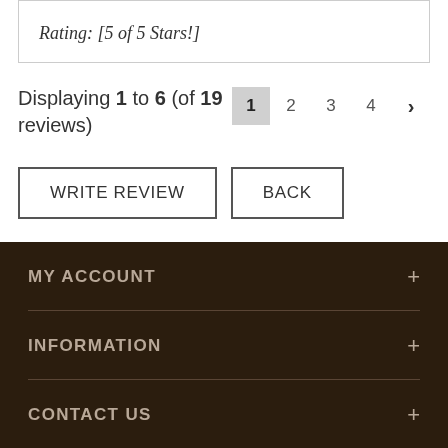Rating: [5 of 5 Stars!]
Displaying 1 to 6 (of 19 reviews)
WRITE REVIEW
BACK
MY ACCOUNT
INFORMATION
CONTACT US